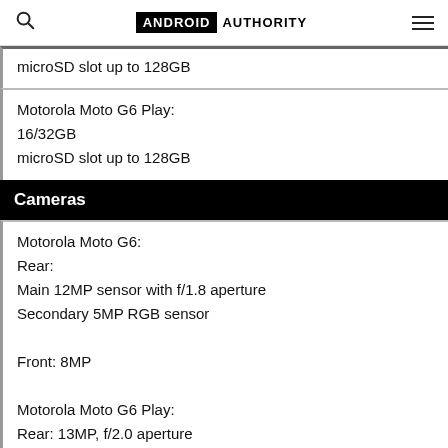ANDROID AUTHORITY
microSD slot up to 128GB
Motorola Moto G6 Play:
16/32GB
microSD slot up to 128GB
Cameras
Motorola Moto G6:
Rear:
Main 12MP sensor with f/1.8 aperture
Secondary 5MP RGB sensor

Front: 8MP

Motorola Moto G6 Play:
Rear: 13MP, f/2.0 aperture